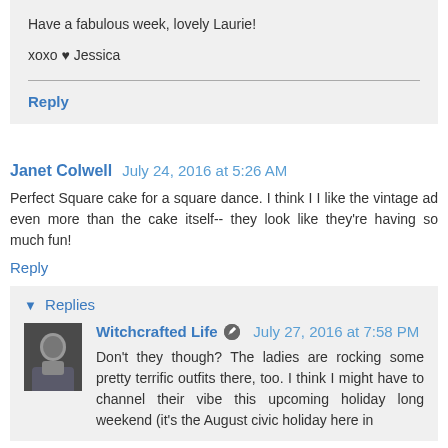Have a fabulous week, lovely Laurie!
xoxo ♥ Jessica
Reply
Janet Colwell  July 24, 2016 at 5:26 AM
Perfect Square cake for a square dance. I think I I like the vintage ad even more than the cake itself-- they look like they're having so much fun!
Reply
▼ Replies
Witchcrafted Life  July 27, 2016 at 7:58 PM
Don't they though? The ladies are rocking some pretty terrific outfits there, too. I think I might have to channel their vibe this upcoming holiday long weekend (it's the August civic holiday here in